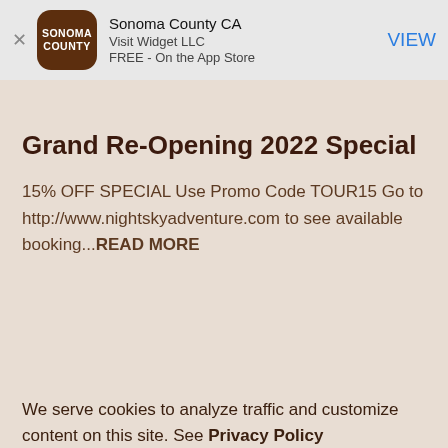[Figure (screenshot): App Store smart banner showing Sonoma County CA app by Visit Widget LLC, free on the App Store, with brown rounded square icon and VIEW button]
Grand Re-Opening 2022 Special
15% OFF SPECIAL Use Promo Code TOUR15 Go to http://www.nightskyadventure.com to see available booking...READ MORE
We serve cookies to analyze traffic and customize content on this site. See Privacy Policy